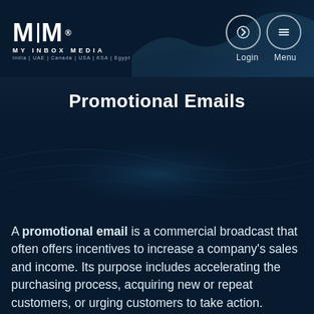[Figure (logo): MIM My Inbox Media logo with registration mark, subtitle 'MY INBOX MEDIA', and countries listed: India | UAE | Canada | USA | KSA | Egypt]
[Figure (screenshot): Login and Menu navigation icons (circular bordered icons) with labels 'Login' and 'Menu' below]
Promotional Emails
[Figure (photo): Dark blue decorative background image section in the middle of the page]
A promotional email is a commercial broadcast that often offers incentives to increase a company's sales and income. Its purpose includes accelerating the purchasing process, acquiring new or repeat customers, or urging customers to take action. Conversions are often in sales, but they may also be downloads, phone calls, event registrations, or other actions.